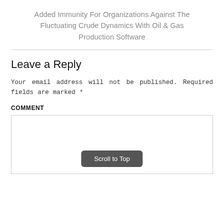Added Immunity For Organizations Against The Fluctuating Crude Dynamics With Oil & Gas Production Software
Leave a Reply
Your email address will not be published. Required fields are marked *
COMMENT
[Figure (other): Empty comment text area input box with a 'Scroll to Top' button overlaid at the bottom center]